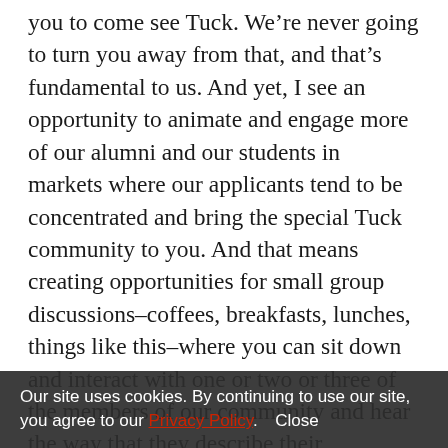you to come see Tuck. We're never going to turn you away from that, and that's fundamental to us. And yet, I see an opportunity to animate and engage more of our alumni and our students in markets where our applicants tend to be concentrated and bring the special Tuck community to you. And that means creating opportunities for small group discussions–coffees, breakfasts, lunches, things like this–where you can sit down and interact with one or two or three of the members of our community and hear the way that they describe their experience, get a sense of what makes this place distinct and special, and let that open your eyes to what the Tuck experience can do for you. So that's a big commitment of mine, because I don't
Our site uses cookies. By continuing to use our site, you agree to our Privacy Policy.  Close